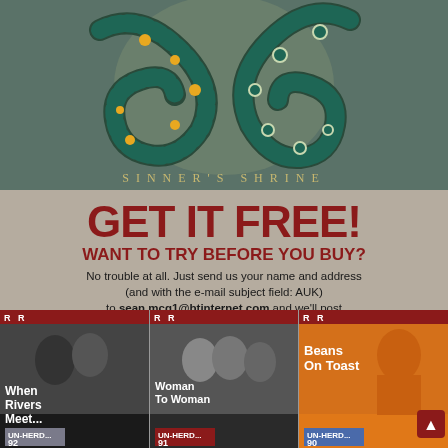[Figure (illustration): Album artwork for Sinner's Shrine showing two snakes entwined with floral patterns on a dark teal/grey-green background, with the text SINNER'S SHRINE in spaced gold letters at the bottom]
[Figure (infographic): Advertisement for RnR magazine free sample offer. Text reads GET IT FREE! WANT TO TRY BEFORE YOU BUY? No trouble at all. Just send us your name and address (and with the e-mail subject field: AUK) to sean.mcg1@btinternet.com and we'll post a sample copy out to you FREE (UK only). Shows three magazine covers: When Rivers Meet (UN-HERD... 92), Woman To Woman (UN-HERD... 91), Beans On Toast (UN-HERD... 90)]